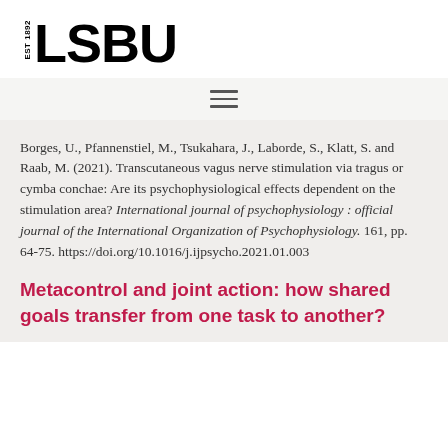[Figure (logo): LSBU logo with EST 1892 text vertically on left and large bold LSBU text]
Borges, U., Pfannenstiel, M., Tsukahara, J., Laborde, S., Klatt, S. and Raab, M. (2021). Transcutaneous vagus nerve stimulation via tragus or cymba conchae: Are its psychophysiological effects dependent on the stimulation area? International journal of psychophysiology : official journal of the International Organization of Psychophysiology. 161, pp. 64-75. https://doi.org/10.1016/j.ijpsycho.2021.01.003
Metacontrol and joint action: how shared goals transfer from one task to another?